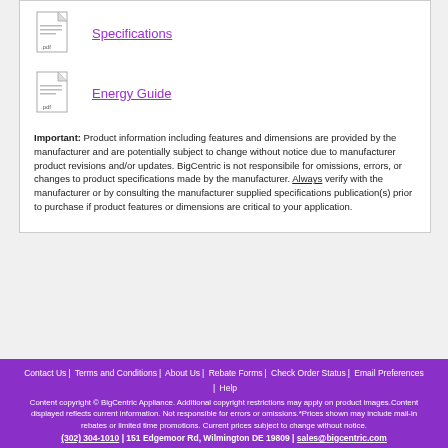[Figure (illustration): PDF file icon for Specifications document]
Specifications
[Figure (illustration): PDF file icon for Energy Guide document]
Energy Guide
Important: Product information including features and dimensions are provided by the manufacturer and are potentially subject to change without notice due to manufacturer product revisions and/or updates. BigCentric is not responsibile for omissions, errors, or changes to product specifications made by the manufacturer. Always verify with the manufacturer or by consulting the manufacturer supplied specifications publication(s) prior to purchase if product features or dimensions are critical to your application.
Contact Us | Terms and Conditions | About Us | Rebate Forms | Check Order Status | Email Preferences | Help
Content copyright © BigCentric Appliance. Additional copyright restrictions may apply on product images.Content displayed reflects current information. Not responsible for errors or omissions.*Prices shown may include mail-in rebates or limited time promotions. Current prices subject to change without notice.
(302) 304-1010 | 151 Edgemoor Rd, Wilmington DE 19809 | sales@bigcentric.com